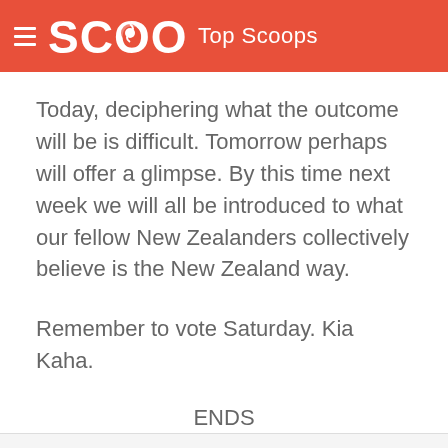SCOOP Top Scoops
Today, deciphering what the outcome will be is difficult. Tomorrow perhaps will offer a glimpse. By this time next week we will all be introduced to what our fellow New Zealanders collectively believe is the New Zealand way.
Remember to vote Saturday. Kia Kaha.
ENDS
© Scoop Media